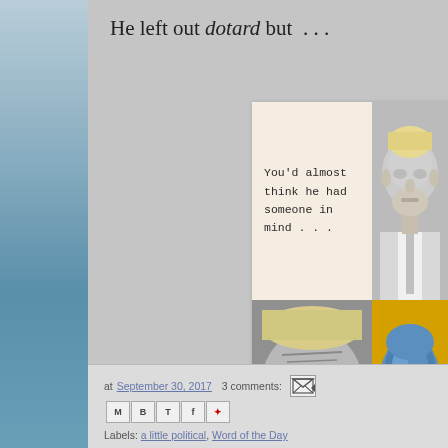He left out dotard but  . . .
[Figure (illustration): Blog post collage image with four quadrants: top-left beige background with typewriter-font quote 'You'd almost think he had someone in mind . . .', top-right shows political figure in grayscale, bottom-left shows political figure in black and white close-up face, bottom-right shows blue sculptural face on yellow/gold background]
at September 30, 2017   3 comments:
Labels: a little political, Word of the Day